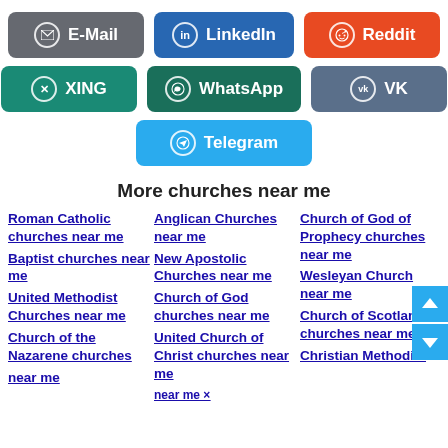[Figure (infographic): Social share buttons: E-Mail (grey), LinkedIn (blue), Reddit (orange), XING (teal), WhatsApp (dark teal), VK (slate blue), Telegram (light blue)]
More churches near me
Roman Catholic churches near me
Anglican Churches near me
Church of God of Prophecy churches near me
Baptist churches near me
New Apostolic Churches near me
Wesleyan Church near me
United Methodist Churches near me
Church of God churches near me
Church of Scotland churches near me
Church of the Nazarene churches near me
United Church of Christ churches near me
Christian Methodist (cut off)